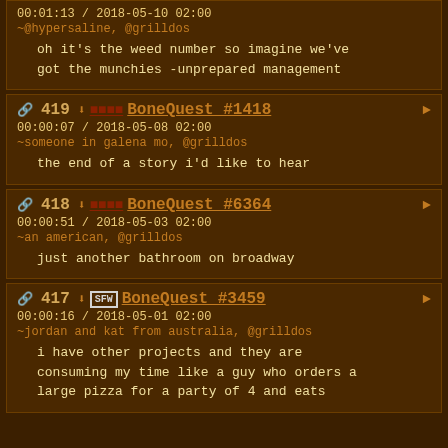00:01:13 / 2018-05-10 02:00 ~@hypersaline, @grilldos — oh it's the weed number so imagine we've got the munchies -unprepared management
419 BoneQuest #1418 00:00:07 / 2018-05-08 02:00 ~someone in galena mo, @grilldos — the end of a story i'd like to hear
418 BoneQuest #6364 00:00:51 / 2018-05-03 02:00 ~an american, @grilldos — just another bathroom on broadway
417 SFW BoneQuest #3459 00:00:16 / 2018-05-01 02:00 ~jordan and kat from australia, @grilldos — i have other projects and they are consuming my time like a guy who orders a large pizza for a party of 4 and eats